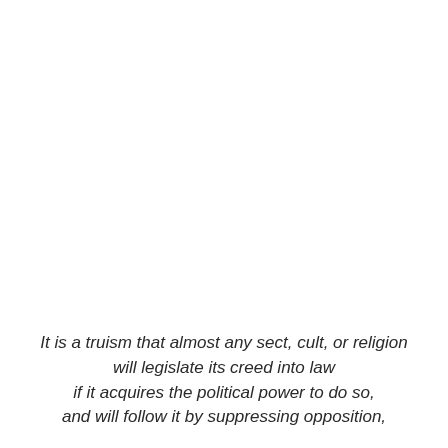It is a truism that almost any sect, cult, or religion will legislate its creed into law if it acquires the political power to do so, and will follow it by suppressing opposition,